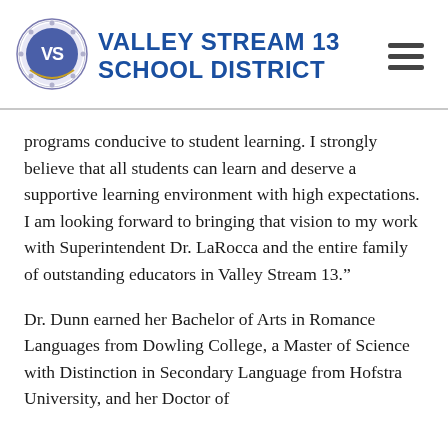[Figure (logo): Valley Stream 13 School District circular logo with VS initials in blue and gold, surrounded by decorative border]
VALLEY STREAM 13 SCHOOL DISTRICT
programs conducive to student learning. I strongly believe that all students can learn and deserve a supportive learning environment with high expectations. I am looking forward to bringing that vision to my work with Superintendent Dr. LaRocca and the entire family of outstanding educators in Valley Stream 13.”
Dr. Dunn earned her Bachelor of Arts in Romance Languages from Dowling College, a Master of Science with Distinction in Secondary Language from Hofstra University, and her Doctor of